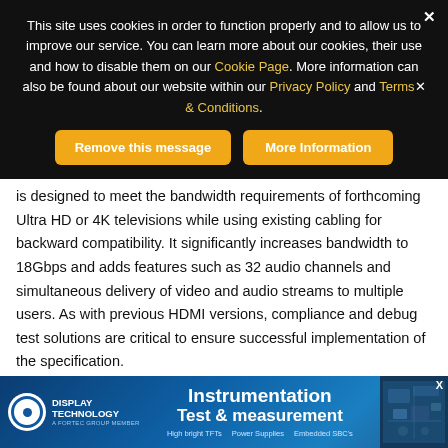This site uses cookies in order to function properly and to allow us to improve our service. You can learn more about our cookies, their use and how to disable them on our Cookie Page. More information can also be found about our website within our Privacy Policy and Terms & Conditions.
is designed to meet the bandwidth requirements of forthcoming Ultra HD or 4K televisions while using existing cabling for backward compatibility. It significantly increases bandwidth to 18Gbps and adds features such as 32 audio channels and simultaneous delivery of video and audio streams to multiple users. As with previous HDMI versions, compliance and debug test solutions are critical to ensure successful implementation of the specification.
“Our ATC service continues to use ‘best in class’ test equipment and
[Figure (screenshot): Advertisement banner for Display Technology featuring Instrumentation Test & measurement with links to High bright TFTs, Power Supplies, Embedded SBCs]